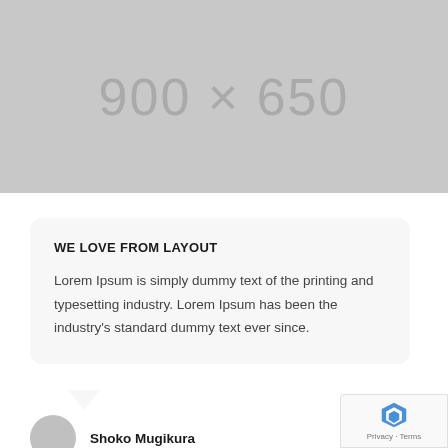[Figure (other): Gray placeholder image block showing '900 × 650' placeholder text in light gray on a medium gray background]
WE LOVE FROM LAYOUT
Lorem Ipsum is simply dummy text of the printing and typesetting industry. Lorem Ipsum has been the industry's standard dummy text ever since.
Shoko Mugikura